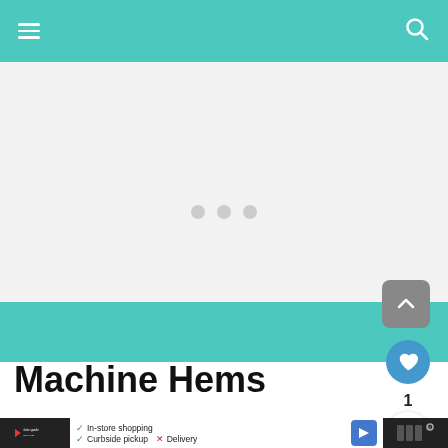[Figure (screenshot): Mobile app navigation bar with teal/turquoise background, hamburger menu icon on left, search (magnifying glass) icon on right]
[Figure (photo): Light gray image loading placeholder area with three gray dots indicating content is loading]
[Figure (infographic): Floating action buttons: gray square scroll-to-top button with upward arrow, blue circle heart/favorite button, share button with number 1 below heart]
Machine Hems
[Figure (screenshot): Bottom advertisement bar with dark background, Kate Spade logo, checkmarks for In-store shopping and Curbside pickup, X for Delivery, blue navigation arrow icon, and partial text on right]